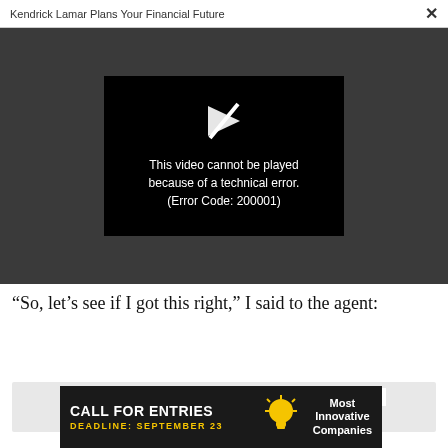Kendrick Lamar Plans Your Financial Future  ×
[Figure (screenshot): Video player showing error message: 'This video cannot be played because of a technical error. (Error Code: 200001)' on black background with broken play icon, embedded in dark gray video player area.]
“So, let’s see if I got this right,” I said to the agent:
[Figure (other): Light gray content block placeholder]
[Figure (screenshot): Advertisement banner: 'CALL FOR ENTRIES DEADLINE: SEPTEMBER 23' with lightbulb icon and 'Most Innovative Companies' text on dark background]